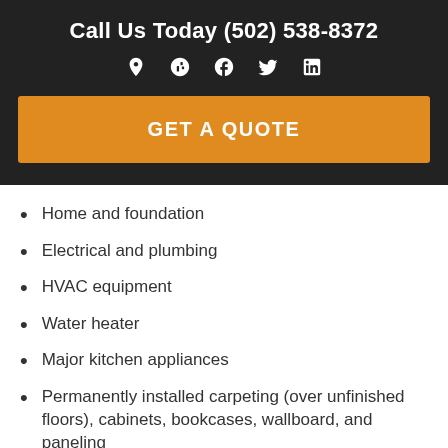Call Us Today (502) 538-8372
[Figure (other): Social media icons row: location pin, Yelp, Facebook, Twitter, LinkedIn]
GET A QUOTE
Home and foundation
Electrical and plumbing
HVAC equipment
Water heater
Major kitchen appliances
Permanently installed carpeting (over unfinished floors), cabinets, bookcases, wallboard, and paneling
Window blinds